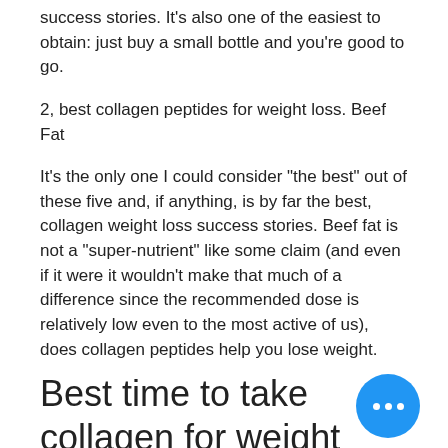success stories. It's also one of the easiest to obtain: just buy a small bottle and you're good to go.
2, best collagen peptides for weight loss. Beef Fat
It's the only one I could consider "the best" out of these five and, if anything, is by far the best, collagen weight loss success stories. Beef fat is not a "super-nutrient" like some claim (and even if it were it wouldn't make that much of a difference since the recommended dose is relatively low even to the most active of us), does collagen peptides help you lose weight.
Best time to take collagen for weight loss
Each of the best steroids for weight loss have different absorption rates and take